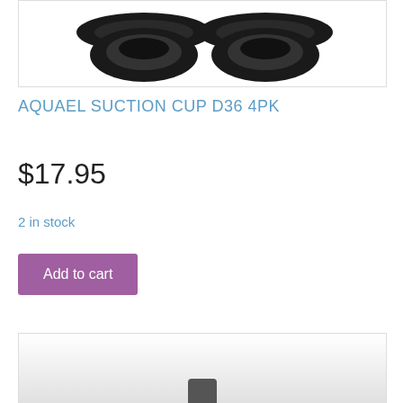[Figure (photo): Two black suction cups (Aquael D36) photographed on white background, viewed from above showing the round disc shape]
AQUAEL SUCTION CUP D36 4PK
$17.95
2 in stock
Add to cart
[Figure (photo): Partial product photo showing a small dark object against a light grey gradient background, cropped at bottom of page]